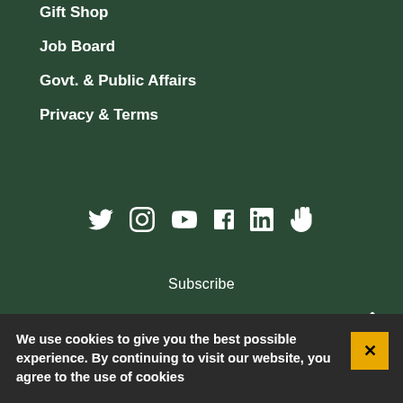Gift Shop
Job Board
Govt. & Public Affairs
Privacy & Terms
[Figure (infographic): Social media icons row: Twitter, Instagram, YouTube, Facebook, LinkedIn, and a hand/stop icon, all white on dark green background]
Subscribe
(510) 251-1544
We use cookies to give you the best possible experience. By continuing to visit our website, you agree to the use of cookies